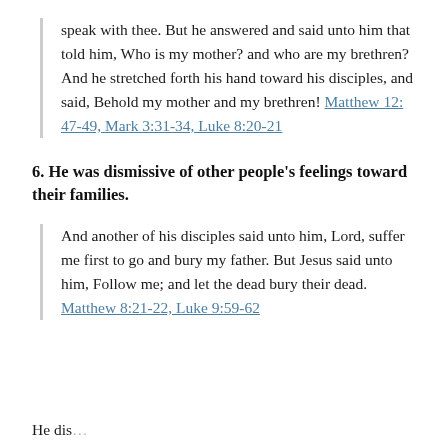speak with thee. But he answered and said unto him that told him, Who is my mother? and who are my brethren? And he stretched forth his hand toward his disciples, and said, Behold my mother and my brethren! Matthew 12: 47-49, Mark 3:31-34, Luke 8:20-21
6. He was dismissive of other people's feelings toward their families.
And another of his disciples said unto him, Lord, suffer me first to go and bury my father. But Jesus said unto him, Follow me; and let the dead bury their dead. Matthew 8:21-22, Luke 9:59-62
He dis...